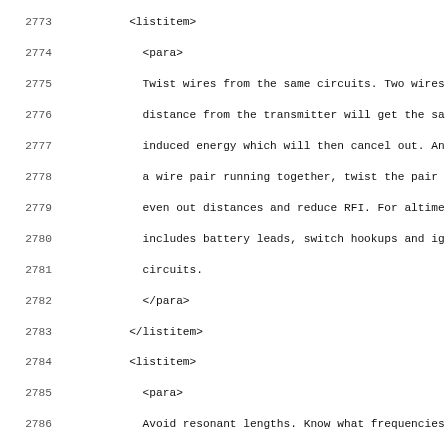Source code listing lines 2773-2804, showing XML markup for altimeter documentation including listitem, para, section, and title elements.